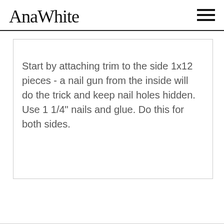AnaWhite
Start by attaching trim to the side 1x12 pieces - a nail gun from the inside will do the trick and keep nail holes hidden. Use 1 1/4" nails and glue. Do this for both sides.